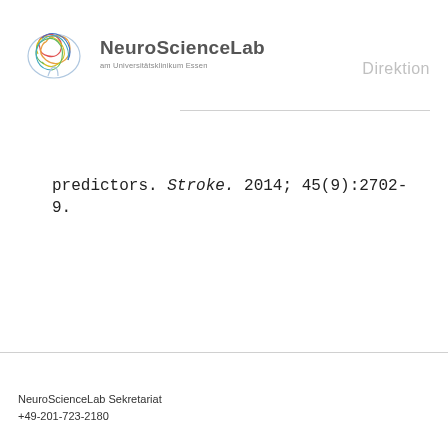[Figure (logo): NeuroScienceLab logo with stylized brain illustration in multicolor lines and text 'NeuroScienceLab am Universitätsklinikum Essen']
Direktion
predictors. Stroke. 2014; 45(9):2702-9.
NeuroScienceLab Sekretariat
+49-201-723-2180